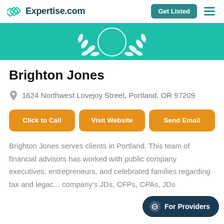Expertise.com — Get Listed
[Figure (illustration): Teal banner with white laurel wreath emblem at top, partially visible]
Brighton Jones
1624 Northwest Lovejoy Street, Portland, OR 97209
Click to Call | Visit Website | Send Email
Brighton Jones serves clients in Portland. This team of financial advisors has worked with public company executives, entrepreneurs, and celebrated families regarding tax and legacy... company's JDs, CFPs, CPAs, JDs...